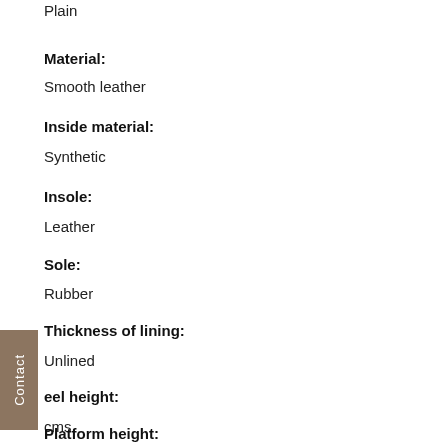Plain
Material:
Smooth leather
Inside material:
Synthetic
Insole:
Leather
Sole:
Rubber
Thickness of lining:
Unlined
eel height:
cms
Platform height: